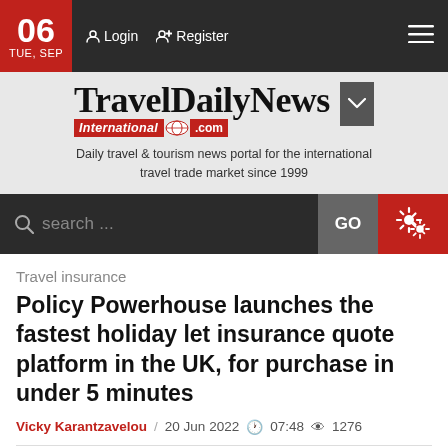06 TUE, SEP | Login | Register
[Figure (logo): TravelDailyNews International .com logo with tagline: Daily travel & tourism news portal for the international travel trade market since 1999]
search ... GO
Travel insurance
Policy Powerhouse launches the fastest holiday let insurance quote platform in the UK, for purchase in under 5 minutes
Vicky Karantzavelou / 20 Jun 2022  07:48  1276
0 SHARES